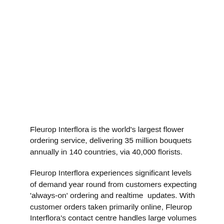Fleurop Interflora is the world's largest flower ordering service, delivering 35 million bouquets annually in 140 countries, via 40,000 florists.
Fleurop Interflora experiences significant levels of demand year round from customers expecting 'always-on' ordering and realtime  updates. With customer orders taken primarily online, Fleurop Interflora's contact centre handles large volumes of queries around delivery times and order changes, with consumers calling in to check or amend their all-important floral orders.